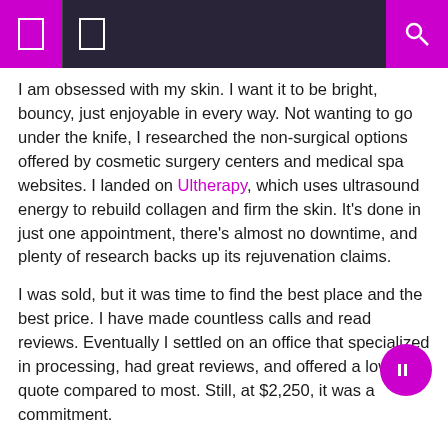[navigation bar with menu icons and search]
I am obsessed with my skin. I want it to be bright, bouncy, just enjoyable in every way. Not wanting to go under the knife, I researched the non-surgical options offered by cosmetic surgery centers and medical spa websites. I landed on Ultherapy, which uses ultrasound energy to rebuild collagen and firm the skin. It's done in just one appointment, there's almost no downtime, and plenty of research backs up its rejuvenation claims.
I was sold, but it was time to find the best place and the best price. I have made countless calls and read reviews. Eventually I settled on an office that specialized in processing, had great reviews, and offered a low quote compared to most. Still, at $2,250, it was a commitment.
Know what you want and how